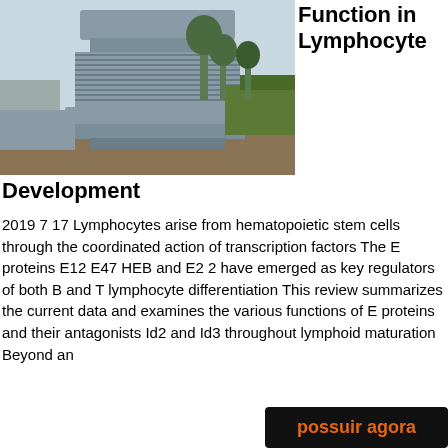[Figure (photo): Industrial machinery — large cylindrical grey mechanical device with coiled springs/fins, photographed outdoors in a yard with trucks and trees in the background.]
Function in Lymphocyte
Development
2019 7 17 Lymphocytes arise from hematopoietic stem cells through the coordinated action of transcription factors The E proteins E12 E47 HEB and E2 2 have emerged as key regulators of both B and T lymphocyte differentiation This review summarizes the current data and examines the various functions of E proteins and their antagonists Id2 and Id3 throughout lymphoid maturation Beyond an
possuir agora